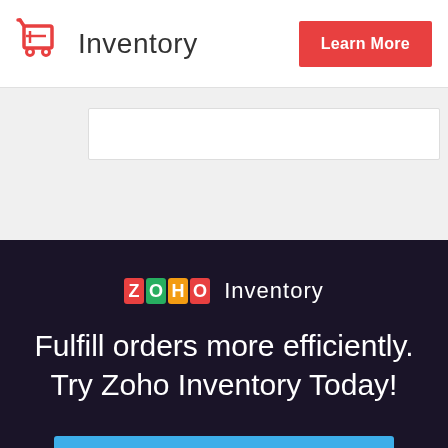[Figure (logo): Zoho Inventory logo with red cart icon and text 'Inventory']
[Figure (screenshot): Partial screenshot of a web page interface with white content area on gray background]
[Figure (logo): ZOHO colorful block logo followed by 'Inventory' text in white]
Fulfill orders more efficiently. Try Zoho Inventory Today!
GET STARTED NOW